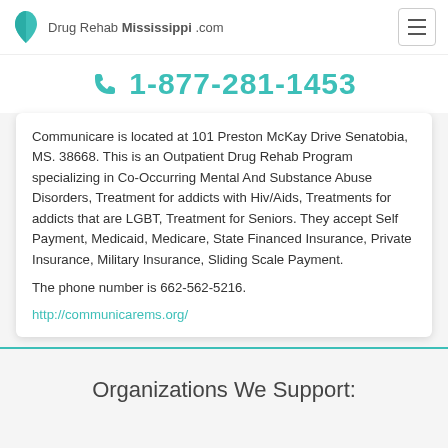Drug Rehab Mississippi .com
1-877-281-1453
Communicare is located at 101 Preston McKay Drive Senatobia, MS. 38668. This is an Outpatient Drug Rehab Program specializing in Co-Occurring Mental And Substance Abuse Disorders, Treatment for addicts with Hiv/Aids, Treatments for addicts that are LGBT, Treatment for Seniors. They accept Self Payment, Medicaid, Medicare, State Financed Insurance, Private Insurance, Military Insurance, Sliding Scale Payment.
The phone number is 662-562-5216.
http://communicarems.org/
Organizations We Support: